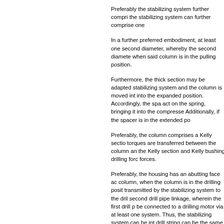Preferably the stabilizing system further compri the stabilizing system can further comprise one
In a further preferred embodiment, at least one second diameter, whereby the second diamete when said column is in the pulling position.
Furthermore, the thick section may be adapted stabilizing system and the column is moved int into the expanded position. Accordingly, the sp act on the spring, bringing it into the compresse Additionally, if the spacer is in the extended po
Preferably, the column comprises a Kelly secti torques are transferred between the column a the Kelly section and Kelly bushing drilling forc forces.
Preferably, the housing has an abutting face a column, when the column is in the drilling posit transmitted by the stabilizing system to the dri second drill pipe linkage, wherein the first drill be connected to a drilling motor via at least on system. Thus, the stabilizing system can be int drill string can be the same as for rigid stabilize
According to a further aspect of the invention, a drill pipes.
According to a further aspect of the invention, a positive force onto the stabilizing system in lon diameter of the stabilizing system to increase.